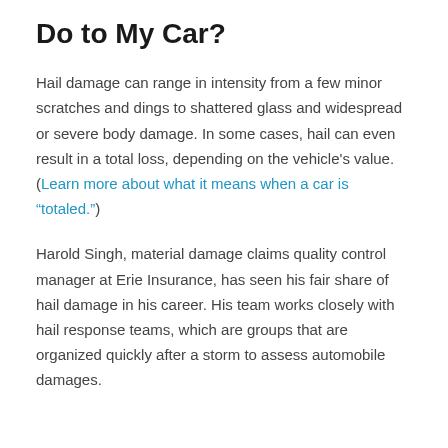Do to My Car?
Hail damage can range in intensity from a few minor scratches and dings to shattered glass and widespread or severe body damage. In some cases, hail can even result in a total loss, depending on the vehicle's value. (Learn more about what it means when a car is "totaled.")
Harold Singh, material damage claims quality control manager at Erie Insurance, has seen his fair share of hail damage in his career. His team works closely with hail response teams, which are groups that are organized quickly after a storm to assess automobile damages.